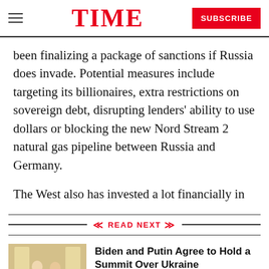TIME | SUBSCRIBE
been finalizing a package of sanctions if Russia does invade. Potential measures include targeting its billionaires, extra restrictions on sovereign debt, disrupting lenders’ ability to use dollars or blocking the new Nord Stream 2 natural gas pipeline between Russia and Germany.
The West also has invested a lot financially in
READ NEXT
Biden and Putin Agree to Hold a Summit Over Ukraine